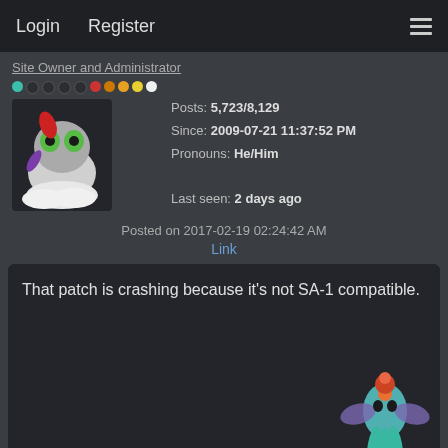Login   Register
Site Owner and Administrator
Posts: 5,723/8,129
Since: 2009-07-21 11:37:52 PM
Pronouns: He/Him
Last seen: 2 days ago
Posted on 2017-02-19 02:24:42 AM
Link
That patch is crashing because it's not SA-1 compatible.